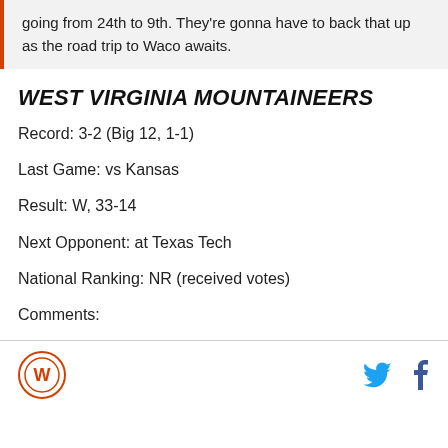going from 24th to 9th. They're gonna have to back that up as the road trip to Waco awaits.
WEST VIRGINIA MOUNTAINEERS
Record: 3-2 (Big 12, 1-1)
Last Game: vs Kansas
Result: W, 33-14
Next Opponent: at Texas Tech
National Ranking: NR (received votes)
Comments:
Logo | Twitter | Facebook